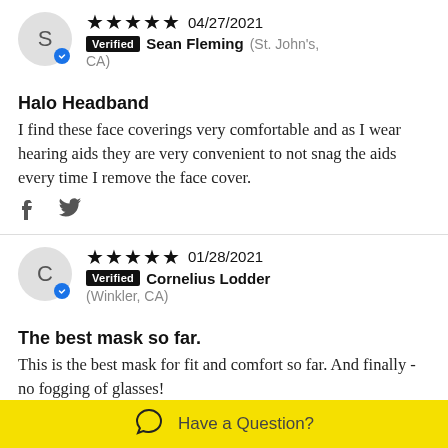★★★★★ 04/27/2021 Verified Sean Fleming (St. John's, CA)
Halo Headband
I find these face coverings very comfortable and as I wear hearing aids they are very convenient to not snag the aids every time I remove the face cover.
★★★★★ 01/28/2021 Verified Cornelius Lodder (Winkler, CA)
The best mask so far.
This is the best mask for fit and comfort so far. And finally - no fogging of glasses!
Have a Question?